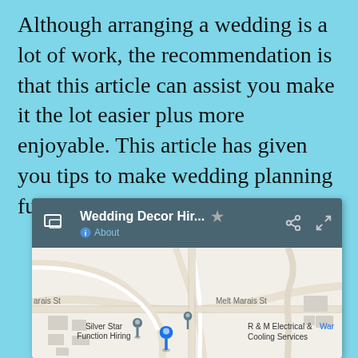Although arranging a wedding is a lot of work, the recommendation is that this article can assist you make it the lot easier plus more enjoyable. This article has given you tips to make wedding planning fun, instead of stressful.
[Figure (screenshot): Mobile app screenshot showing a Google Maps-style interface with the title 'Wedding Decor Hir...' and a map displaying Silver Star Function Hiring, R & M Electrical & Cooling Services locations with map pins.]